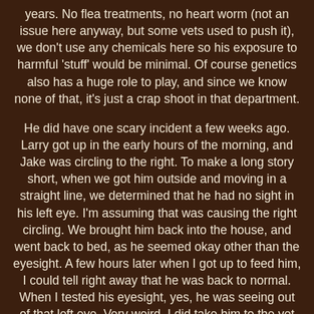years. No flea treatments, no heart worm (not an issue here anyway, but some vets used to push it), we don't use any chemicals here so his exposure to harmful 'stuff' would be minimal.  Of course genetics also has a huge role to play, and since we know none of that, it's just a crap shoot in that department.

He did have one scary incident a few weeks ago.  Larry got up in the early hours of the morning, and Jake was circling to the right.  To make a long story short, when we got him outside and moving in a straight line, we determined that he had no sight in his left eye.  I'm assuming that was causing the right circling.  We brought him back into the house, and went back to bed, as he seemed okay other than the eyesight.  A few hours later when I got up to feed him, I could tell right away that he was back to normal.  When I tested his eyesight, yes, he was seeing out of that left eye.  Very weird.  I did take him to the vet who tested his eyes and said everything seemed as it should be.  He had no explanation for what happened.  He said the sudden loss of sight could be explained by a detached retina, but they don't just reattach themselves, so that didn't explain why he could